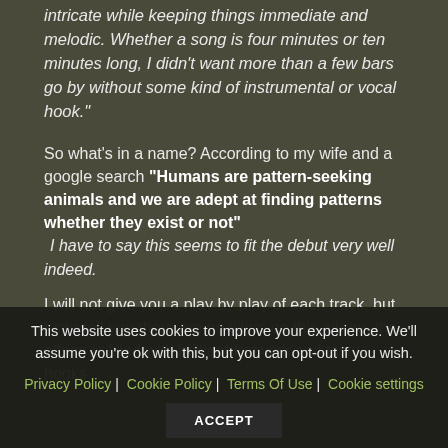intricate while keeping things immediate and melodic. Whether a song is four minutes or ten minutes long, I didn't want more than a few bars go by without some kind of instrumental or vocal hook."
So what's in a name? According to my wife and a google search "Humans are pattern-seeking animals and we are adept at finding patterns whether they exist or not" I have to say this seems to fit the debut very well indeed.
I will not give you a play by play of each track, but I can tell you there are no fillers on this album, the album is filled with brilliant fretwork and tasty hooks
This website uses cookies to improve your experience. We'll assume you're ok with this, but you can opt-out if you wish. Privacy Policy | Cookie Policy | Terms Of Use | Cookie settings ACCEPT